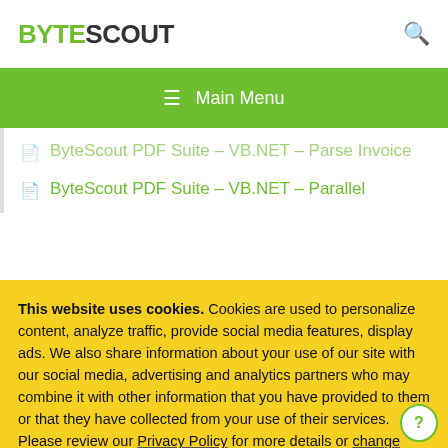BYTESCOUT
≡  Main Menu
ByteScout PDF Suite – VB.NET – Parse Invoice
ByteScout PDF Suite – VB.NET – Parallel
This website uses cookies. Cookies are used to personalize content, analyze traffic, provide social media features, display ads. We also share information about your use of our site with our social media, advertising and analytics partners who may combine it with other information that you have provided to them or that they have collected from your use of their services. Please review our Privacy Policy for more details or change cookies settings. By closing this banner or by clicking a link or continuing to browse otherwise, you consent to our cookies.
OK